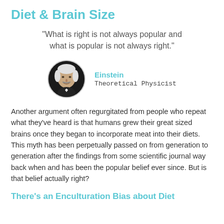Diet & Brain Size
“What is right is not always popular and what is popular is not always right.”
[Figure (photo): Circular portrait photo of Einstein, black and white, older man with white hair, wearing dark suit, labeled Einstein, Theoretical Physicist]
Another argument often regurgitated from people who repeat what they’ve heard is that humans grew their great sized brains once they began to incorporate meat into their diets. This myth has been perpetually passed on from generation to generation after the findings from some scientific journal way back when and has been the popular belief ever since. But is that belief actually right?
There’s an Enculturation Bias about Diet